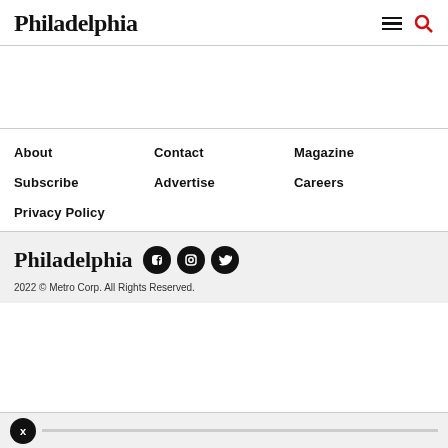Philadelphia
About
Contact
Magazine
Subscribe
Advertise
Careers
Privacy Policy
Philadelphia
2022 © Metro Corp. All Rights Reserved.
x